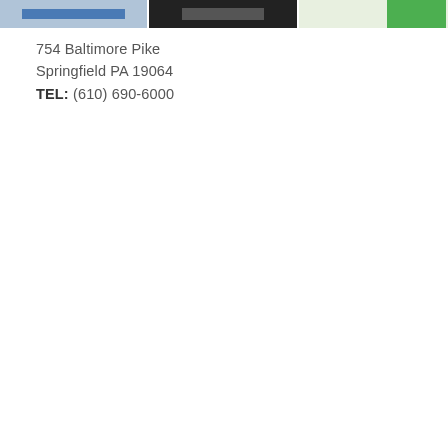[Figure (photo): Three thumbnail images arranged horizontally at the top of the page: a light blue image with a dark blue bar, a dark/black image with lighter element, and a green-accented image.]
754 Baltimore Pike
Springfield PA 19064
TEL: (610) 690-6000